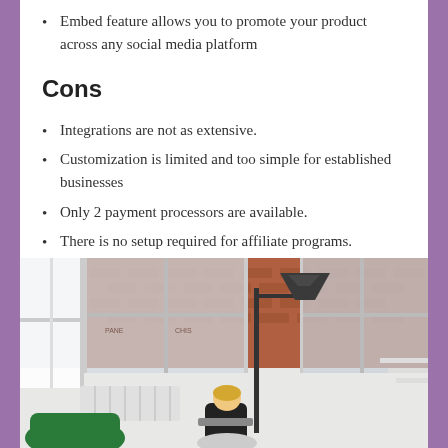Embed feature allows you to promote your product across any social media platform
Cons
Integrations are not as extensive.
Customization is limited and too simple for established businesses
Only 2 payment processors are available.
There is no setup required for affiliate programs.
[Figure (photo): Interior office or cafe scene with large industrial windows showing a brick building exterior, a tall floor lamp with a dark cone shade, white radiators, and a blonde woman sitting in a chair working on a laptop. Green chair visible in foreground.]